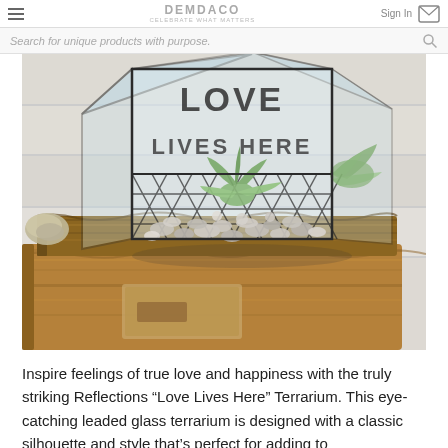DEMDACO — CELEBRATE WHAT MATTERS | Sign In
Search for unique products with purpose.
[Figure (photo): A glass terrarium with 'LOVE LIVES HERE' text engraved on the front, containing pebbles and air plants, placed on top of old weathered wooden books on a white wood surface. The terrarium has a house/geometric shape with black metal framing.]
Inspire feelings of true love and happiness with the truly striking Reflections “Love Lives Here” Terrarium. This eye-catching leaded glass terrarium is designed with a classic silhouette and style that’s perfect for adding to